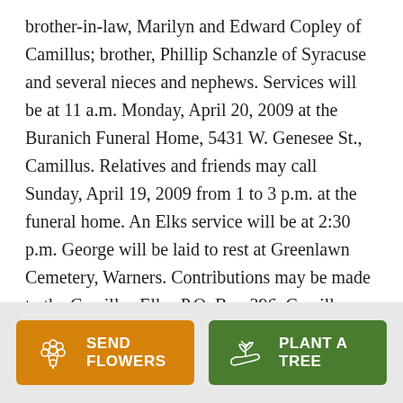brother-in-law, Marilyn and Edward Copley of Camillus; brother, Phillip Schanzle of Syracuse and several nieces and nephews. Services will be at 11 a.m. Monday, April 20, 2009 at the Buranich Funeral Home, 5431 W. Genesee St., Camillus. Relatives and friends may call Sunday, April 19, 2009 from 1 to 3 p.m. at the funeral home. An Elks service will be at 2:30 p.m. George will be laid to rest at Greenlawn Cemetery, Warners. Contributions may be made to the Camillus Elks, P.O. Box 396, Camillus, NY 13031.
[Figure (other): Orange button with flower bouquet icon and text SEND FLOWERS; green button with plant/tree icon and text PLANT A TREE]